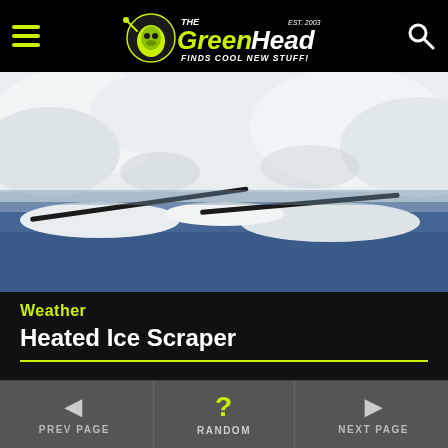The Green Head - Finds Cool New Stuff!
[Figure (photo): Close-up photo of snow and ice covering a car windshield with wiper blades visible]
Weather
Heated Ice Scraper
A couple of days ago we had a pretty big winter storm here in Chicago with a nice ice storm to start it off. My truck was a solid sheet of ice underneath
PREV PAGE   RANDOM   NEXT PAGE